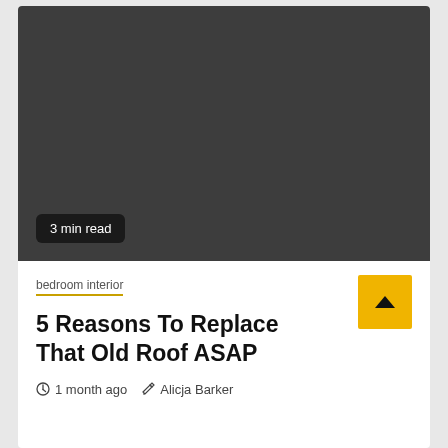[Figure (photo): Dark gray placeholder image for article thumbnail]
3 min read
bedroom interior
5 Reasons To Replace That Old Roof ASAP
1 month ago  Alicja Barker